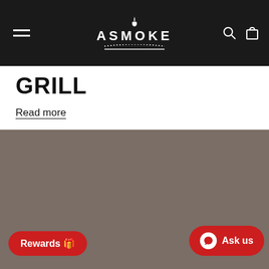ASMOKE
GRILL
Read more
[Figure (photo): Brown/taupe colored rectangle placeholder image for a grill product]
Rewards 🎁
Ask us